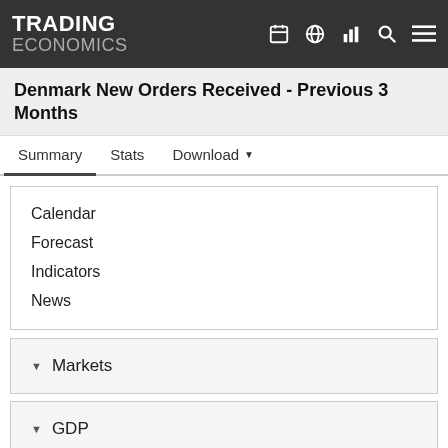TRADING ECONOMICS
Denmark New Orders Received - Previous 3 Months
Summary | Stats | Download
Calendar
Forecast
Indicators
News
Markets
GDP
Labour
Prices